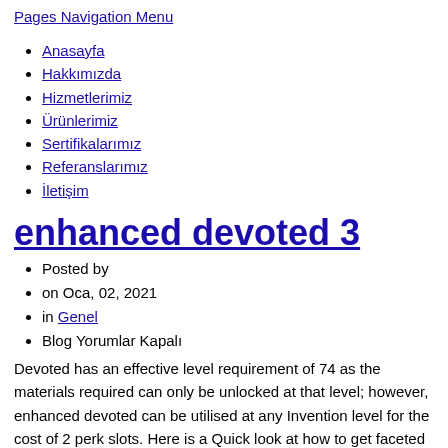Pages Navigation Menu
Anasayfa
Hakkımızda
Hizmetlerimiz
Ürünlerimiz
Sertifikalarımız
Referanslarımız
İletişim
enhanced devoted 3
Posted by
on Oca, 02, 2021
in Genel
Blog Yorumlar Kapalı
Devoted has an effective level requirement of 74 as the materials required can only be unlocked at that level; however, enhanced devoted can be utilised at any Invention level for the cost of 2 perk slots. Here is a Quick look at how to get faceted components quickly and what perks you are likely to get.